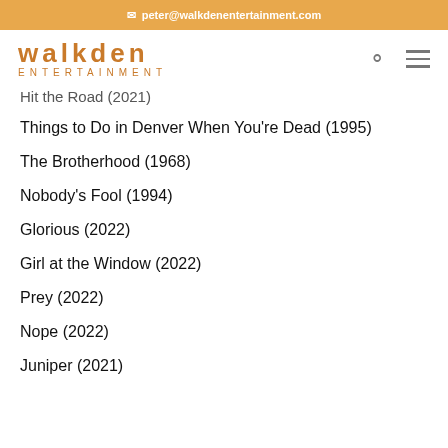peter@walkdenentertainment.com
[Figure (logo): Walkden Entertainment logo with 'walkden' in bold lowercase orange letters and 'ENTERTAINMENT' in smaller orange letters below, accompanied by a search icon and hamburger menu icon]
Hit the Road (2021)
Things to Do in Denver When You're Dead (1995)
The Brotherhood (1968)
Nobody's Fool (1994)
Glorious (2022)
Girl at the Window (2022)
Prey (2022)
Nope (2022)
Juniper (2021)